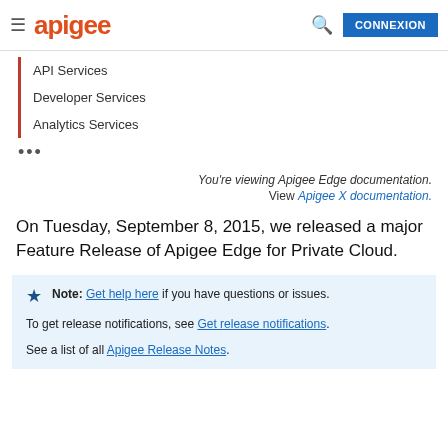apigee  CONNEXION
API Services
Developer Services
Analytics Services
You're viewing Apigee Edge documentation. View Apigee X documentation.
On Tuesday, September 8, 2015, we released a major Feature Release of Apigee Edge for Private Cloud.
Note: Get help here if you have questions or issues.

To get release notifications, see Get release notifications.

See a list of all Apigee Release Notes.